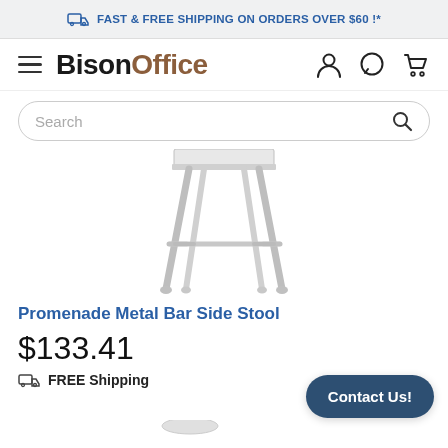FAST & FREE SHIPPING ON ORDERS OVER $60 !*
[Figure (logo): BisonOffice logo with hamburger menu, user icon, chat icon, and cart icon]
[Figure (other): Search bar with placeholder text 'Search' and magnifying glass icon]
[Figure (photo): Partial product image of a metal bar stool (Promenade Metal Bar Side Stool) showing legs and footrest on white background]
Promenade Metal Bar Side Stool
$133.41
FREE Shipping
Contact Us!